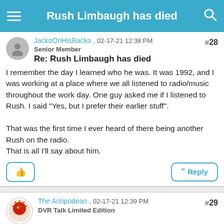Rush Limbaugh has died
#28
JackoOnHisBacko , 02-17-21 12:38 PM
Senior Member
Re: Rush Limbaugh has died
I remember the day I learned who he was. It was 1992, and I was working at a place where we all listened to radio/music throughout the work day. One guy asked me if I listened to Rush. I said "Yes, but I prefer their earlier stuff".

That was the first time I ever heard of there being another Rush on the radio.
That is all I'll say about him.
#29
The Antipodean , 02-17-21 12:39 PM
DVR Talk Limited Edition